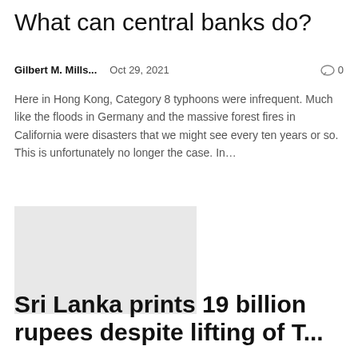What can central banks do?
Gilbert M. Mills...   Oct 29, 2021   🗨 0
Here in Hong Kong, Category 8 typhoons were infrequent. Much like the floods in Germany and the massive forest fires in California were disasters that we might see every ten years or so. This is unfortunately no longer the case. In…
[Figure (photo): Placeholder image (light gray rectangle)]
Sri Lanka prints 19 billion rupees despite lifting of T...